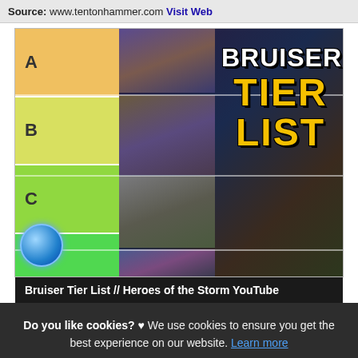Source: www.tentonhammer.com Visit Web
[Figure (screenshot): Bruiser Tier List image showing a tier list layout with rows A, B, C, and D tiers filled with Heroes of the Storm character images, and text overlay reading BRUISER TIER LIST in white and yellow bold font.]
Bruiser Tier List // Heroes of the Storm YouTube
Do you like cookies? ♥ We use cookies to ensure you get the best experience on our website. Learn more
I agree